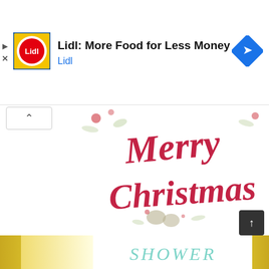[Figure (logo): Lidl advertisement banner with Lidl logo (yellow square with red/blue design), text 'Lidl: More Food for Less Money', subtitle 'Lidl', and a blue navigation diamond arrow icon on the right]
[Figure (illustration): Decorative 'Merry Christmas' calligraphy in red script with floral and holly decorations on white background]
Free Printable Christian Christmas
Popular Posts
[Figure (illustration): Partially visible yellow and white greeting card image at the bottom with 'SHOWER' text visible in teal script]